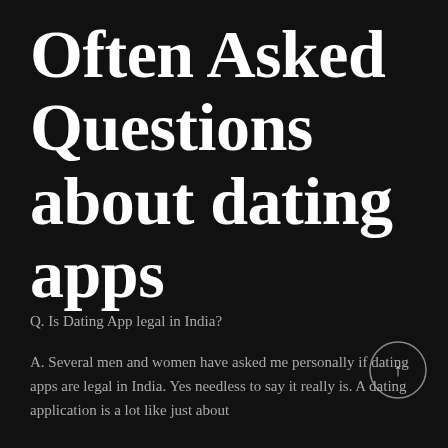Often Asked Questions about dating apps
Q. Is Dating App legal in India?
A. Several men and women have asked me personally if dating apps are legal in India. Yes needless to say it really is. A dating application is a lot like just about